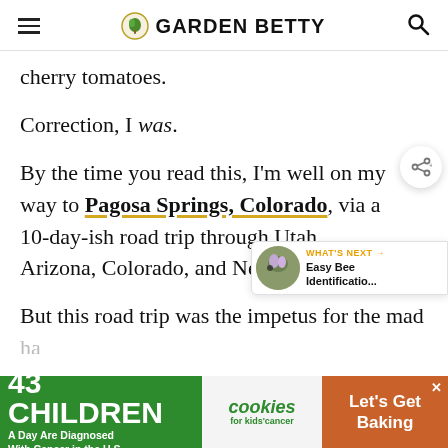GARDEN BETTY
cherry tomatoes.
Correction, I was.
By the time you read this, I'm well on my way to Pagosa Springs, Colorado, via a 10-day-ish road trip through Utah, Arizona, Colorado, and New Mexico.
But this road trip was the impetus for the mad
[Figure (screenshot): Ad banner: 43 CHILDREN A Day Are Diagnosed With Cancer in the U.S. | cookies for kids' cancer | Let's Get Baking]